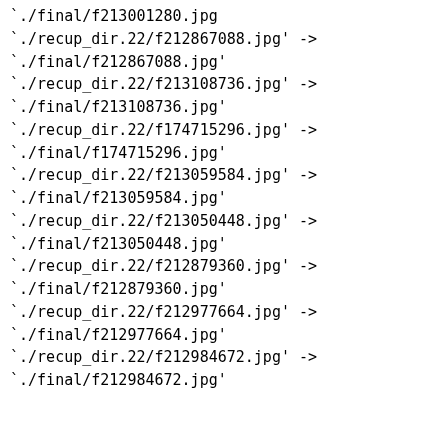`./final/f213001280.jpg
`./recup_dir.22/f212867088.jpg' ->
`./final/f212867088.jpg'
`./recup_dir.22/f213108736.jpg' ->
`./final/f213108736.jpg'
`./recup_dir.22/f174715296.jpg' ->
`./final/f174715296.jpg'
`./recup_dir.22/f213059584.jpg' ->
`./final/f213059584.jpg'
`./recup_dir.22/f213050448.jpg' ->
`./final/f213050448.jpg'
`./recup_dir.22/f212879360.jpg' ->
`./final/f212879360.jpg'
`./recup_dir.22/f212977664.jpg' ->
`./final/f212977664.jpg'
`./recup_dir.22/f212984672.jpg' ->
`./final/f212984672.jpg'